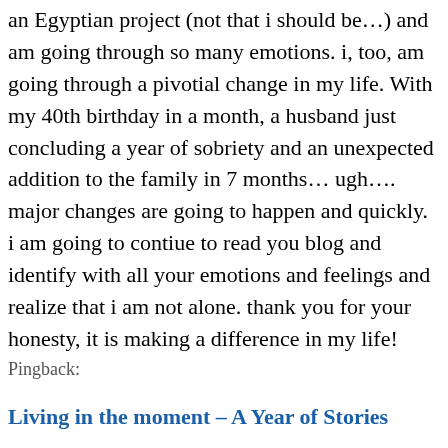an Egyptian project (not that i should be…) and am going through so many emotions. i, too, am going through a pivotial change in my life. With my 40th birthday in a month, a husband just concluding a year of sobriety and an unexpected addition to the family in 7 months… ugh…. major changes are going to happen and quickly. i am going to contiue to read you blog and identify with all your emotions and feelings and realize that i am not alone. thank you for your honesty, it is making a difference in my life!
Pingback:
Living in the moment – A Year of Stories